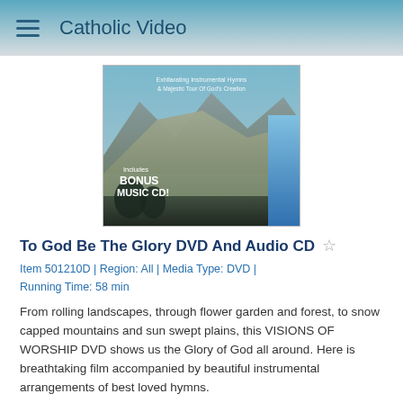Catholic Video
[Figure (photo): Product image of 'To God Be The Glory DVD' showing mountain landscape with rolling hills, text overlay reading 'Includes BONUS MUSIC CD!']
To God Be The Glory DVD And Audio CD
Item 501210D | Region: All | Media Type: DVD | Running Time: 58 min
From rolling landscapes, through flower garden and forest, to snow capped mountains and sun swept plains, this VISIONS OF WORSHIP DVD shows us the Glory of God all around. Here is breathtaking film accompanied by beautiful instrumental arrangements of best loved hymns.
$9.99  $19.99  ADD TO CART